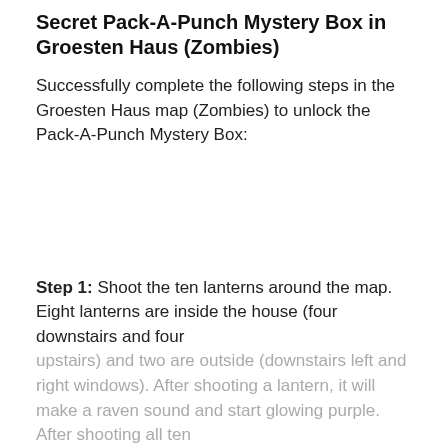Secret Pack-A-Punch Mystery Box in Groesten Haus (Zombies)
Successfully complete the following steps in the Groesten Haus map (Zombies) to unlock the Pack-A-Punch Mystery Box:
Step 1: Shoot the ten lanterns around the map. Eight lanterns are inside the house (four downstairs and four upstairs) and two are outside (downstairs left and right windows). After shooting a lantern, it will make a raven sound and start glowing purple. After shooting all ten...